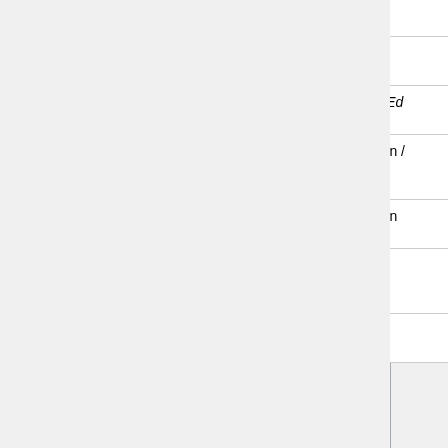| Date | Author | Link/Title |
| --- | --- | --- |
|  |  | Data (NC) |
| 2008-11-13 | Swartz, Aaron | Stealing You Library: The Powergrab |
| 2008-11-14 | Inside Higher Ed | Maelstrom O Metadata (… |
| 2008-11-14 | Calhoun, Karen / Roy Tennant / Richard Wallis | OCLC Talk w Talis about th Record Use Policy |
| 2008-11-14 | Calhoun, Karen (via Autocat) | OCLC Recor Policy (NC… |
| 2008-11-14 | Corrado, Ed | OCLC World Record Polic makes it to I Higher Ed an Slashdot |
| 2008-11-14 | Libology | More OCLC Comments |